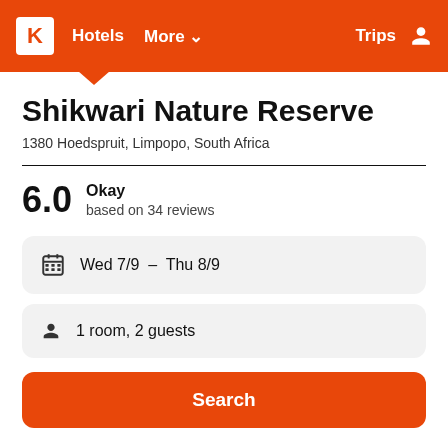K  Hotels  More ▾  Trips  👤
Shikwari Nature Reserve
1380 Hoedspruit, Limpopo, South Africa
6.0  Okay  based on 34 reviews
Wed 7/9  –  Thu 8/9
1 room, 2 guests
Search